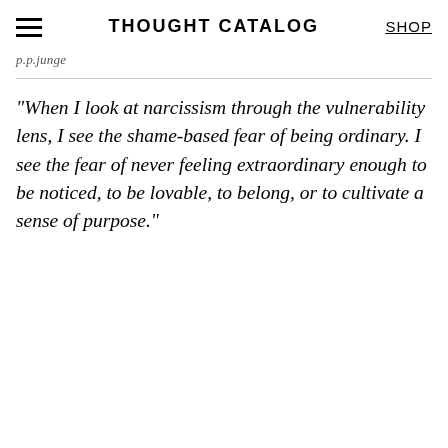THOUGHT CATALOG | SHOP
p.p.junge
“When I look at narcissism through the vulnerability lens, I see the shame-based fear of being ordinary. I see the fear of never feeling extraordinary enough to be noticed, to be lovable, to belong, or to cultivate a sense of purpose.”